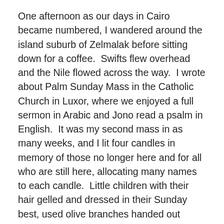One afternoon as our days in Cairo became numbered, I wandered around the island suburb of Zelmalak before sitting down for a coffee.  Swifts flew overhead and the Nile flowed across the way.  I wrote about Palm Sunday Mass in the Catholic Church in Luxor, where we enjoyed a full sermon in Arabic and Jono read a psalm in English.  It was my second mass in as many weeks, and I lit four candles in memory of those no longer here and for all who are still here, allocating many names to each candle.  Little children with their hair gelled and dressed in their Sunday best, used olive branches handed out during the parade at the beginning of the service to tickle each others noses.  It was a beautiful service in a language which I fail to understand, but regardless of language, it felt so familiar.
Walking home to the glorious, dusty old Lotus Hotel that evening, I found myself accidentally immersed in the busy Boulaq market where loud hip hop played and the narrow streets were jammed full of people and cars in the shadows of a busy overpass.  Foreign and outnumbered, I felt an enormous